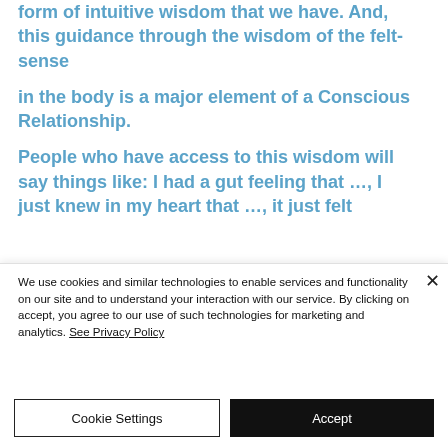form of intuitive wisdom that we have. And, this guidance through the wisdom of the felt-sense in the body is a major element of a Conscious Relationship.

People who have access to this wisdom will say things like: I had a gut feeling that ..., I just knew in my heart that ..., it just felt
We use cookies and similar technologies to enable services and functionality on our site and to understand your interaction with our service. By clicking on accept, you agree to our use of such technologies for marketing and analytics. See Privacy Policy